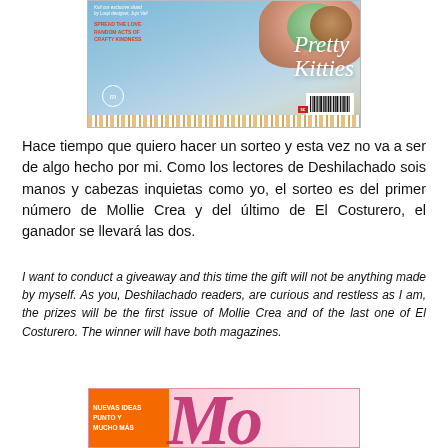[Figure (photo): Top portion of a crafting magazine cover showing 'Pretty Kitties' text in cursive over a blue background with ice cream scoops visible at top right, a brand logo circle, barcode, and decorative border strip at bottom.]
Hace tiempo que quiero hacer un sorteo y esta vez no va a ser de algo hecho por mi. Como los lectores de Deshilachado sois manos y cabezas inquietas como yo, el sorteo es del primer número de Mollie Crea y del último de El Costurero, el ganador se llevará las dos.
I want to conduct a giveaway and this time the gift will not be anything made by myself. As you, Deshilachado readers, are curious and restless as I am, the prizes will be the first issue of Mollie Crea and of the last one of El Costurero. The winner will have both magazines.
[Figure (photo): Bottom portion of another magazine cover showing 'NUEVAS IDEAS PUNTO Y MUCHO MÁS' text on an orange label on the left, and large cursive pink/magenta lettering on a pink background.]